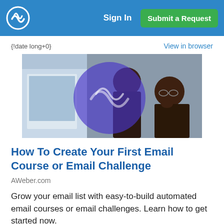Sign In | Submit a Request
{!date long+0}
View in browser
[Figure (photo): Two people looking at a computer screen together, with a large blue/purple circular overlay in the center of the image.]
How To Create Your First Email Course or Email Challenge
AWeber.com
Grow your email list with easy-to-build automated email courses or email challenges. Learn how to get started now.